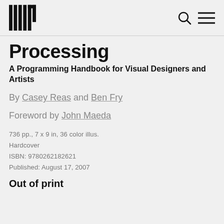MIT Press logo, search icon, menu icon
Processing
A Programming Handbook for Visual Designers and Artists
By Casey Reas and Ben Fry
Foreword by John Maeda
736 pp., 7 x 9 in, 36 color illus.
Hardcover
ISBN: 9780262182621
Published: August 17, 2007
Out of print